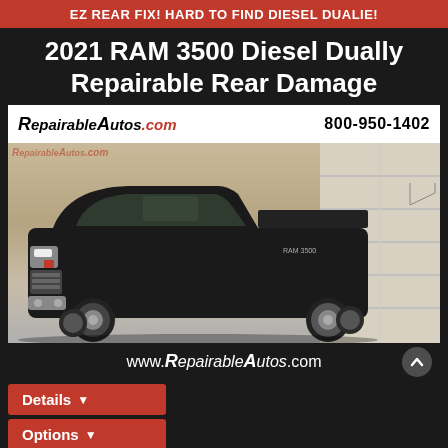EZ REAR FIX! HARD TO FIND DIESEL DUALIE!
2021 RAM 3500 Diesel Dually Repairable Rear Damage
[Figure (photo): Black 2021 RAM 3500 Diesel Dually truck shown with dealership branding for RepairableAutos.com, phone 800-950-1402, and website www.RepairableAutos.com]
Details
Options